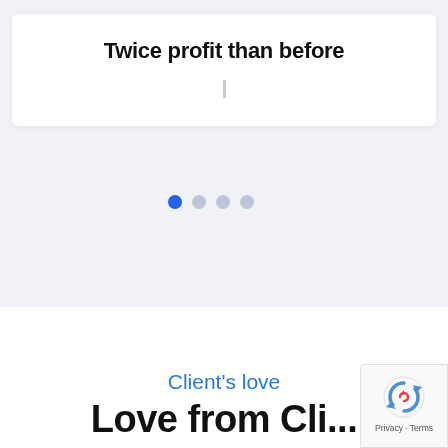Twice profit than before
|
[Figure (other): Carousel navigation dots: one filled blue dot (active) followed by three light grey dots (inactive)]
Client's love
Love from Clients